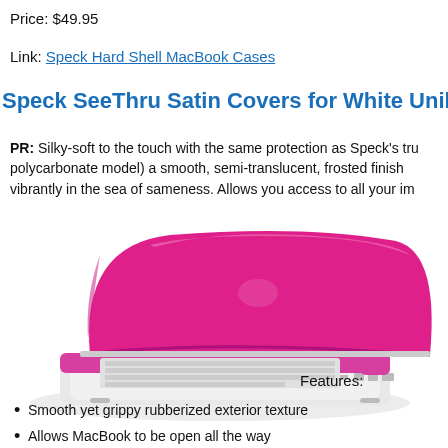Price: $49.95
Link: Speck Hard Shell MacBook Cases
Speck SeeThru Satin Covers for White Unibody MacBook
PR: Silky-soft to the touch with the same protection as Speck's trusted polycarbonate model) a smooth, semi-translucent, frosted finish vibrantly in the sea of sameness. Allows you access to all your imp
[Figure (photo): Pink Speck SeeThru Satin hard shell case on a white MacBook laptop, shown from a three-quarter angle with the lid open.]
Features:
Smooth yet grippy rubberized exterior texture
Allows MacBook to be open all the way